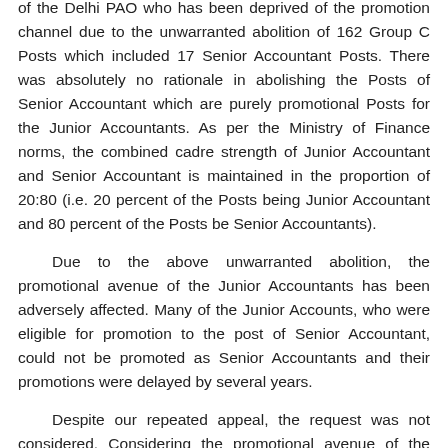of the Delhi PAO who has been deprived of the promotion channel due to the unwarranted abolition of 162 Group C Posts which included 17 Senior Accountant Posts. There was absolutely no rationale in abolishing the Posts of Senior Accountant which are purely promotional Posts for the Junior Accountants. As per the Ministry of Finance norms, the combined cadre strength of Junior Accountant and Senior Accountant is maintained in the proportion of 20:80 (i.e. 20 percent of the Posts being Junior Accountant and 80 percent of the Posts be Senior Accountants).
Due to the above unwarranted abolition, the promotional avenue of the Junior Accountants has been adversely affected. Many of the Junior Accounts, who were eligible for promotion to the post of Senior Accountant, could not be promoted as Senior Accountants and their promotions were delayed by several years.
Despite our repeated appeal, the request was not considered. Considering the promotional avenue of the Junior Accountants, I request your good self to kindly look into the matter for a favorable decision.